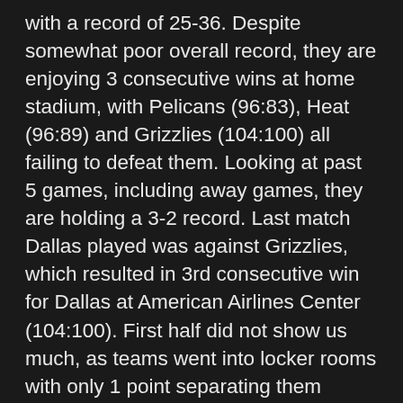with a record of 25-36. Despite somewhat poor overall record, they are enjoying 3 consecutive wins at home stadium, with Pelicans (96:83), Heat (96:89) and Grizzlies (104:100) all failing to defeat them. Looking at past 5 games, including away games, they are holding a 3-2 record. Last match Dallas played was against Grizzlies, which resulted in 3rd consecutive win for Dallas at American Airlines Center (104:100). First half did not show us much, as teams went into locker rooms with only 1 point separating them (51:50). 3rd quarter that followed was where Dallas got their lead of additional 6 points, which arguably won them the match in the end. Being 7 points ahead of their opponents (79:72), Dallas needed to hold on to their lead for the final 12 minutes, and they managed to do so, despite playing poorly in 4th quarter. Dallas offence had a poor 35.3% shooting accuracy in 4th quarter, whereas they let Memphis with 47.6%FG. Despite that, 7